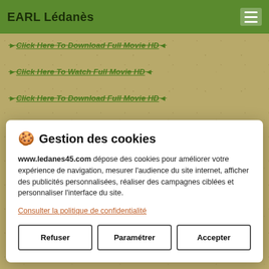EARL Lédanès
►Click Here To Download Full Movie HD◄
►Click Here To Watch Full Movie HD◄
►Click Here To Download Full Movie HD◄
►Click Here To Watch Full Movie HD◄
🍪 Gestion des cookies
www.ledanes45.com dépose des cookies pour améliorer votre expérience de navigation, mesurer l'audience du site internet, afficher des publicités personnalisées, réaliser des campagnes ciblées et personnaliser l'interface du site.
Consulter la politique de confidentialité
Refuser  Paramétrer  Accepter